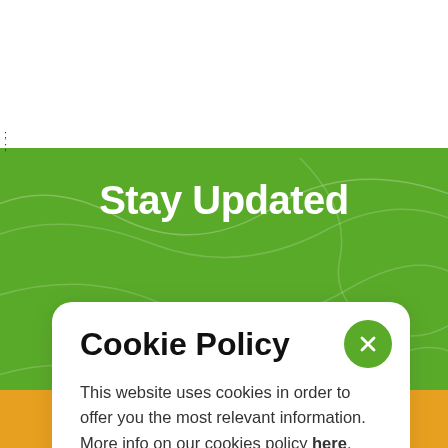Stay Updated
Cookie Policy
This website uses cookies in order to offer you the most relevant information. More info on our cookies policy here.
Got It